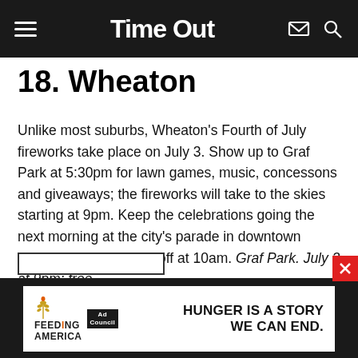Time Out
18. Wheaton
Unlike most suburbs, Wheaton's Fourth of July fireworks take place on July 3. Show up to Graf Park at 5:30pm for lawn games, music, concessons and giveaways; the fireworks will take to the skies starting at 9pm. Keep the celebrations going the next morning at the city's parade in downtown Wheaton, which steps off at 10am. Graf Park. July 3 at 9pm; free.
[Figure (infographic): Advertisement banner: Feeding America Ad Council - HUNGER IS A STORY WE CAN END.]